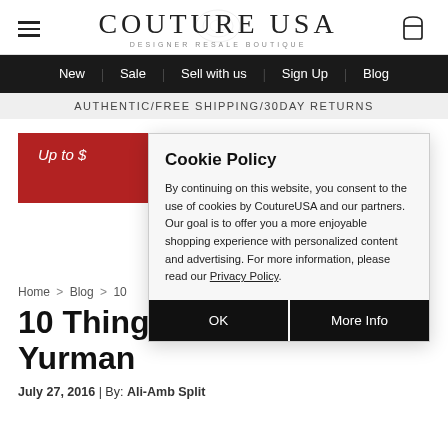[Figure (logo): Couture USA Designer Resale Boutique logo with hamburger menu and cart icon]
New | Sale | Sell with us | Sign Up | Blog
AUTHENTIC/FREE SHIPPING/30DAY RETURNS
[Figure (other): Red banner partially obscured by cookie dialog: Up to $...]
Cookie Policy
By continuing on this website, you consent to the use of cookies by CoutureUSA and our partners. Our goal is to offer you a more enjoyable shopping experience with personalized content and advertising. For more information, please read our Privacy Policy.
OK | More Info
Home > Blog > 1...
10 Things Y... Yurman
July 27, 2016 | By: Ali-Amb Split